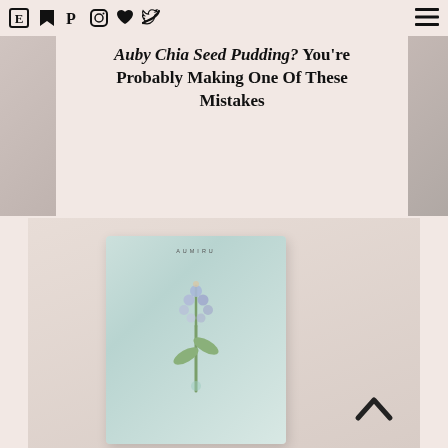E | bookmark | P | Instagram | heart | Twitter | hamburger menu
Auby Chia Seed Pudding? You're Probably Making One Of These Mistakes
[Figure (photo): A blurred product photo of a chia seed pudding package with a floral illustration (blue/purple flower) on a light teal/mint background, placed on a pinkish-beige surface. The package appears to be a rectangular box or packet.]